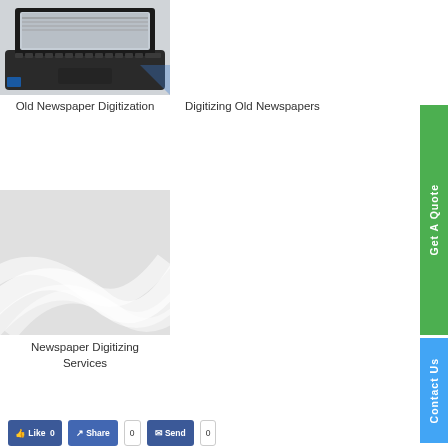[Figure (photo): Laptop computer showing a newspaper on its screen, partial view from above]
Old Newspaper Digitization
Digitizing Old Newspapers
[Figure (illustration): Placeholder image with grey wavy lines on light grey background]
Newspaper Digitizing Services
[Figure (other): Green vertical button labeled Get A Quote]
[Figure (other): Blue vertical button labeled Contact Us]
Like 0  Share  Send
[Figure (screenshot): Facebook social sharing bar with Like, Share, and Send buttons]